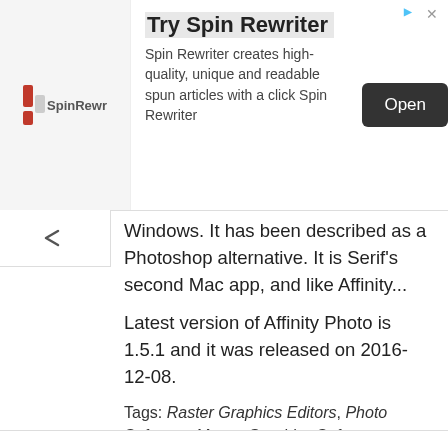[Figure (screenshot): Spin Rewriter advertisement banner with logo, title 'Try Spin Rewriter', description text, and Open button]
Windows. It has been described as a Photoshop alternative. It is Serif's second Mac app, and like Affinity...
Latest version of Affinity Photo is 1.5.1 and it was released on 2016-12-08.
Tags: Raster Graphics Editors, Photo Software, Macos Graphics Software
PTGui by New House Internet Services BV
PTGui is a panorama photo stitching program for Windows and Mac OS X developed by New House Internet Services